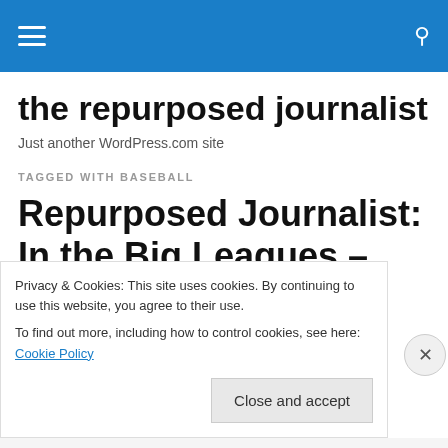the repurposed journalist – navigation header with hamburger menu and search icon
the repurposed journalist
Just another WordPress.com site
TAGGED WITH BASEBALL
Repurposed Journalist: In the Big Leagues – Rebecca Hale
Privacy & Cookies: This site uses cookies. By continuing to use this website, you agree to their use.
To find out more, including how to control cookies, see here: Cookie Policy
Close and accept